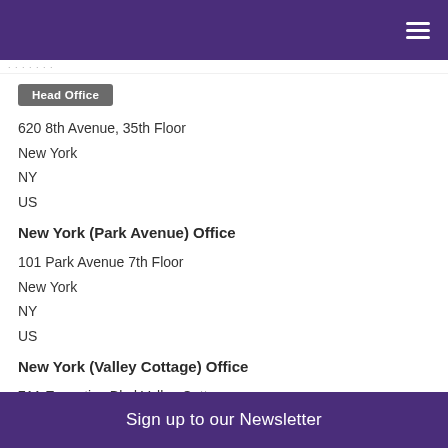Head Office
620 8th Avenue, 35th Floor
New York
NY
US
New York (Park Avenue) Office
101 Park Avenue 7th Floor
New York
NY
US
New York (Valley Cottage) Office
711 Executive Blvd Valley Cottage
Sign up to our Newsletter